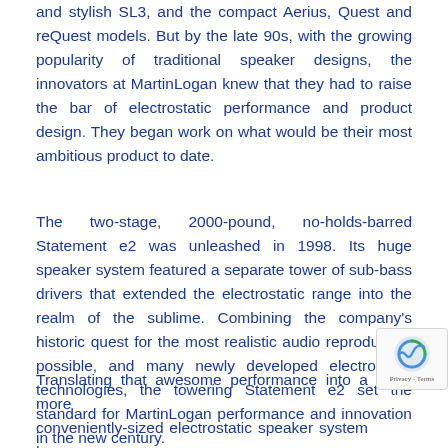and stylish SL3, and the compact Aerius, Quest and reQuest models. But by the late 90s, with the growing popularity of traditional speaker designs, the innovators at MartinLogan knew that they had to raise the bar of electrostatic performance and product design. They began work on what would be their most ambitious product to date.
The two-stage, 2000-pound, no-holds-barred Statement e2 was unleashed in 1998. Its huge speaker system featured a separate tower of sub-bass drivers that extended the electrostatic range into the realm of the sublime. Combining the company's historic quest for the most realistic audio reproduction possible, and many newly developed electrostatic technologies, the towering Statement e2 set the standard for MartinLogan performance and innovation in the new century.
Translating that awesome performance into a more conveniently-sized electrostatic speaker system became the goal. This was realized soon after with the Prodigy generation speakers. High-performance electrostatic technologies perfected...